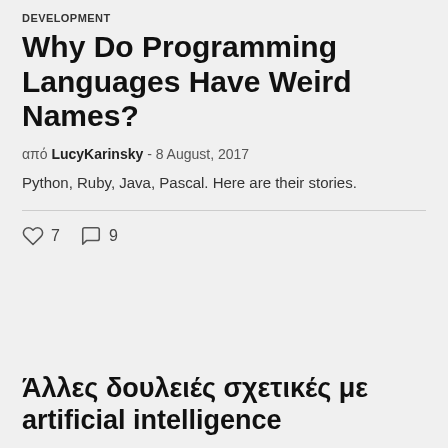DEVELOPMENT
Why Do Programming Languages Have Weird Names?
από LucyKarinsky - 8 August, 2017
Python, Ruby, Java, Pascal. Here are their stories.
♡ 7   ○ 9
Άλλες δουλειές σχετικές με artificial intelligence